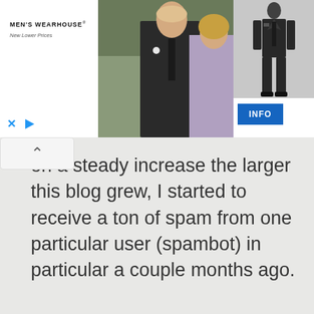[Figure (photo): Men's Wearhouse advertisement banner showing a couple in formal wear (man in dark suit, woman in light dress) and a mannequin in a dark suit, with MEN'S WEARHOUSE logo and 'New Lower Prices' tagline, an INFO button, and ad controls (X and play button)]
on a steady increase the larger this blog grew, I started to receive a ton of spam from one particular user (spambot) in particular a couple months ago.